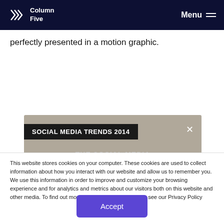Column Five — Menu
perfectly presented in a motion graphic.
[Figure (screenshot): Social Media Trends 2014 video preview card with close button and subtitle 'THE SOCIAL MEDIA']
This website stores cookies on your computer. These cookies are used to collect information about how you interact with our website and allow us to remember you. We use this information in order to improve and customize your browsing experience and for analytics and metrics about our visitors both on this website and other media. To find out more about the cookies we use, see our Privacy Policy
Accept